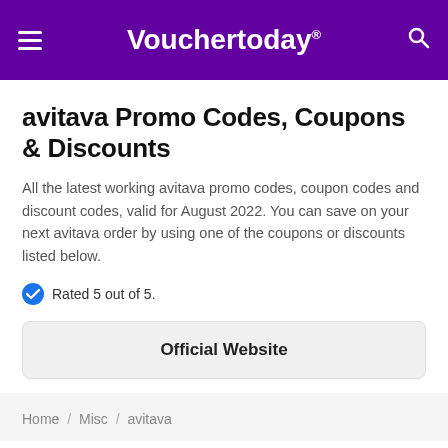Vouchertoday®
avitava Promo Codes, Coupons & Discounts
All the latest working avitava promo codes, coupon codes and discount codes, valid for August 2022. You can save on your next avitava order by using one of the coupons or discounts listed below.
Rated 5 out of 5.
Official Website
Home / Misc / avitava